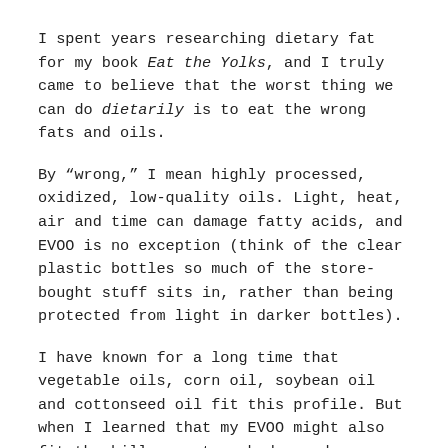I spent years researching dietary fat for my book Eat the Yolks, and I truly came to believe that the worst thing we can do dietarily is to eat the wrong fats and oils.
By “wrong,” I mean highly processed, oxidized, low-quality oils. Light, heat, air and time can damage fatty acids, and EVOO is no exception (think of the clear plastic bottles so much of the store-bought stuff sits in, rather than being protected from light in darker bottles).
I have known for a long time that vegetable oils, corn oil, soybean oil and cottonseed oil fit this profile. But when I learned that my EVOO might also fit the bill, my stomach dropped.
It’s more than a financial issue or even a flavor issue. It’s a health issue.